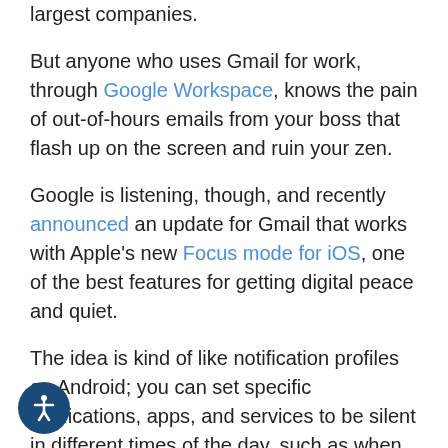largest companies.
But anyone who uses Gmail for work, through Google Workspace, knows the pain of out-of-hours emails from your boss that flash up on the screen and ruin your zen.
Google is listening, though, and recently announced an update for Gmail that works with Apple's new Focus mode for iOS, one of the best features for getting digital peace and quiet.
The idea is kind of like notification profiles on Android; you can set specific notifications, apps, and services to be silent in different times of the day, such as when you're at home.
Gmail can now work with these profiles – either automatically generated by Apple or customized by the user – to make sure that you get the exact notifications you want. Aimless emails? Gone. Important, critical updates? Those get through.